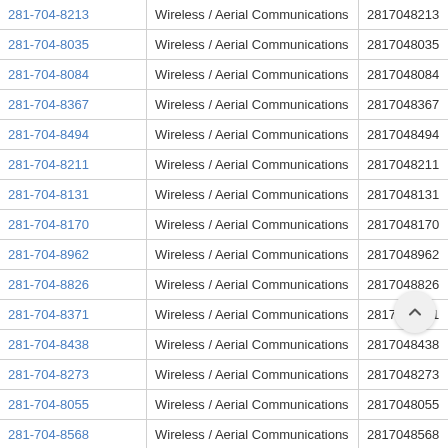| Phone | Type | Number | V |
| --- | --- | --- | --- |
| 281-704-8213 | Wireless / Aerial Communications | 2817048213 | V |
| 281-704-8035 | Wireless / Aerial Communications | 2817048035 | V |
| 281-704-8084 | Wireless / Aerial Communications | 2817048084 | V |
| 281-704-8367 | Wireless / Aerial Communications | 2817048367 | V |
| 281-704-8494 | Wireless / Aerial Communications | 2817048494 | V |
| 281-704-8211 | Wireless / Aerial Communications | 2817048211 | V |
| 281-704-8131 | Wireless / Aerial Communications | 2817048131 | V |
| 281-704-8170 | Wireless / Aerial Communications | 2817048170 | V |
| 281-704-8962 | Wireless / Aerial Communications | 2817048962 | V |
| 281-704-8826 | Wireless / Aerial Communications | 2817048826 | V |
| 281-704-8371 | Wireless / Aerial Communications | 2817048371 | V |
| 281-704-8438 | Wireless / Aerial Communications | 2817048438 | V |
| 281-704-8273 | Wireless / Aerial Communications | 2817048273 | V |
| 281-704-8055 | Wireless / Aerial Communications | 2817048055 | V |
| 281-704-8568 | Wireless / Aerial Communications | 2817048568 | V |
| 281-704-8233 | Wireless / Aerial Communications | 2817048233 | V |
| 281-704-8785 | Wireless / Aerial Communications | 2817048785 | V |
| 281-704-8959 | Wireless / Aerial Communications | 2817048959 | V |
| 281-704-8274 | Wireless / Aerial Communications | 2817048274 | V |